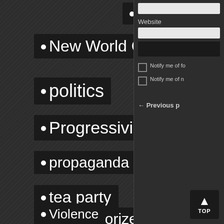• media
• New World Order
• prepper
• politics
• Progressivism
• propaganda
• taxes
• texes
• tea party
• Uncategorized
• union
• Violence
• war
Website
Notify me of fo
Notify me of n
← Previous p
TOP